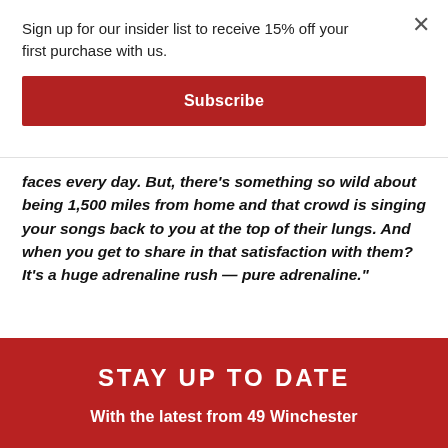Sign up for our insider list to receive 15% off your first purchase with us.
Subscribe
faces every day. But, there’s something so wild about being 1,500 miles from home and that crowd is singing your songs back to you at the top of their lungs. And when you get to share in that satisfaction with them? It’s a huge adrenaline rush — pure adrenaline.”
STAY UP TO DATE
With the latest from 49 Winchester